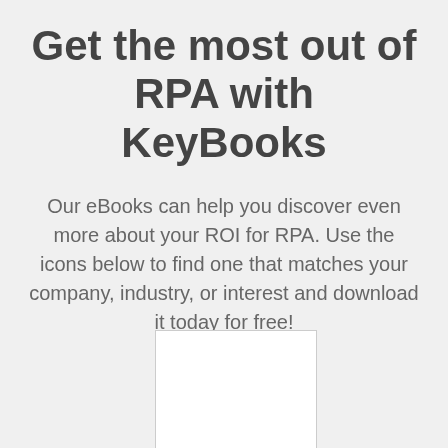Get the most out of RPA with KeyBooks
Our eBooks can help you discover even more about your ROI for RPA. Use the icons below to find one that matches your company, industry, or interest and download it today for free!
[Figure (other): A white rectangular box with a light grey border, partially visible at the bottom of the page, representing a placeholder for an eBook cover image.]